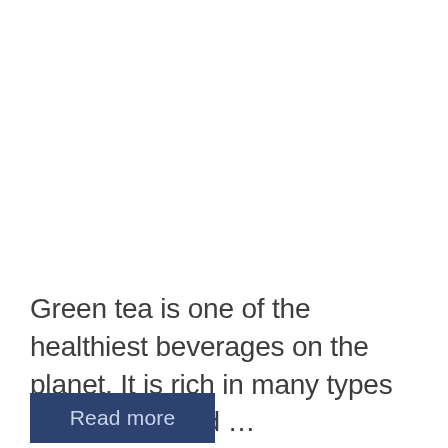Green tea is one of the healthiest beverages on the planet. It is rich in many types of nutrients and ...
Read more